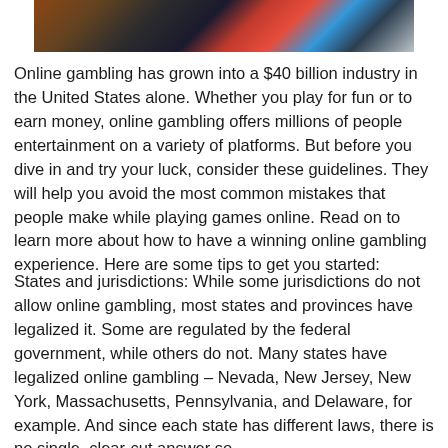[Figure (photo): Photograph showing casino chips and gambling related items on a table, partially visible at top of page]
Online gambling has grown into a $40 billion industry in the United States alone. Whether you play for fun or to earn money, online gambling offers millions of people entertainment on a variety of platforms. But before you dive in and try your luck, consider these guidelines. They will help you avoid the most common mistakes that people make while playing games online. Read on to learn more about how to have a winning online gambling experience. Here are some tips to get you started:
States and jurisdictions: While some jurisdictions do not allow online gambling, most states and provinces have legalized it. Some are regulated by the federal government, while others do not. Many states have legalized online gambling – Nevada, New Jersey, New York, Massachusetts, Pennsylvania, and Delaware, for example. And since each state has different laws, there is no single, clear-cut answer so